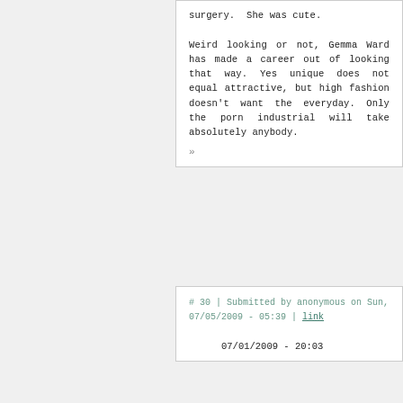surgery. She was cute.
Weird looking or not, Gemma Ward has made a career out of looking that way. Yes unique does not equal attractive, but high fashion doesn't want the everyday. Only the porn industrial will take absolutely anybody.
»
# 30 | Submitted by anonymous on Sun, 07/05/2009 - 05:39 | link
07/01/2009 - 20:03